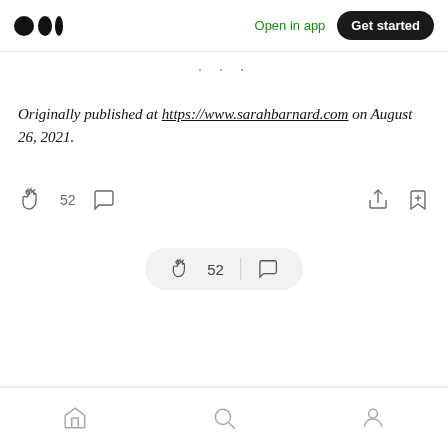Medium logo | Open in app | Get started
Originally published at https://www.sarahbarnard.com on August 26, 2021.
[Figure (infographic): Reaction bar with clapping icon showing 52 claps, comment icon, share icon, and bookmark icon]
[Figure (infographic): Floating pill button showing clapping icon with 52 count and comment icon]
Bottom navigation bar with home, search, and profile icons